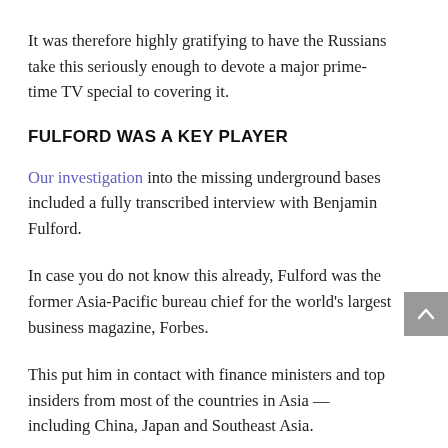It was therefore highly gratifying to have the Russians take this seriously enough to devote a major prime-time TV special to covering it.
FULFORD WAS A KEY PLAYER
Our investigation into the missing underground bases included a fully transcribed interview with Benjamin Fulford.
In case you do not know this already, Fulford was the former Asia-Pacific bureau chief for the world’s largest business magazine, Forbes.
This put him in contact with finance ministers and top insiders from most of the countries in Asia — including China, Japan and Southeast Asia.